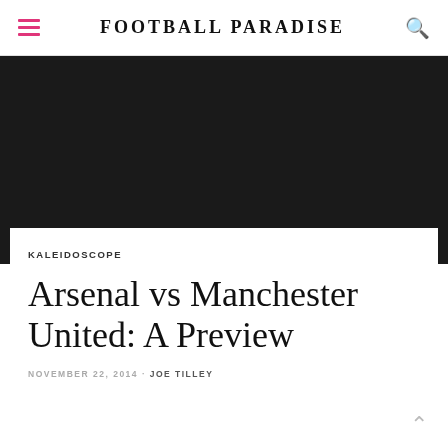FOOTBALL PARADISE
[Figure (photo): Dark hero image area, content not visible]
KALEIDOSCOPE
Arsenal vs Manchester United: A Preview
NOVEMBER 22, 2014 · JOE TILLEY